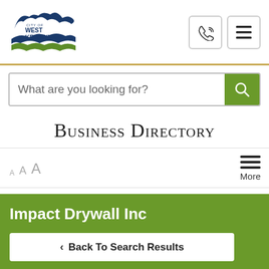[Figure (logo): City of West Kelowna logo with bird/wave graphic in navy blue and green]
What are you looking for?
Business Directory
A A A  More
Impact Drywall Inc
Back To Search Results